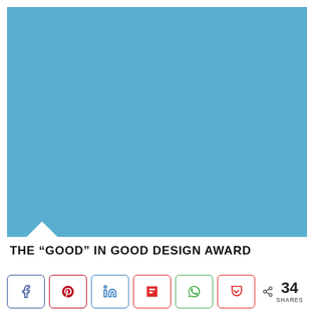[Figure (illustration): Large blue rectangular image area with a white triangular notch cut into the bottom-left corner]
THE “GOOD” IN GOOD DESIGN AWARD
[Figure (infographic): Social share buttons row: Facebook, Pinterest, LinkedIn, Flipboard, WhatsApp, Pocket buttons, and a share count showing 34 SHARES]